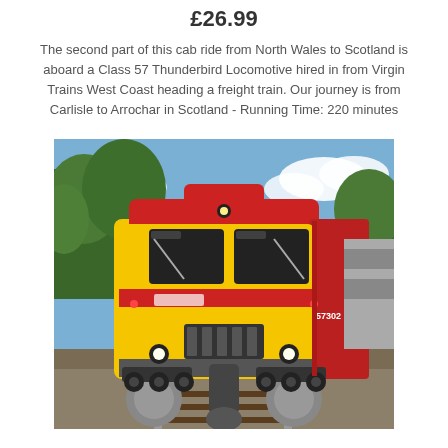£26.99
The second part of this cab ride from North Wales to Scotland is aboard a Class 57 Thunderbird Locomotive hired in from Virgin Trains West Coast heading a freight train. Our journey is from Carlisle to Arrochar in Scotland - Running Time: 220 minutes
[Figure (photo): Front-facing photograph of a Class 57 Thunderbird Locomotive in red and yellow Virgin Trains livery (numbered 57302), heading a train on a track surrounded by trees and a blue sky with clouds.]